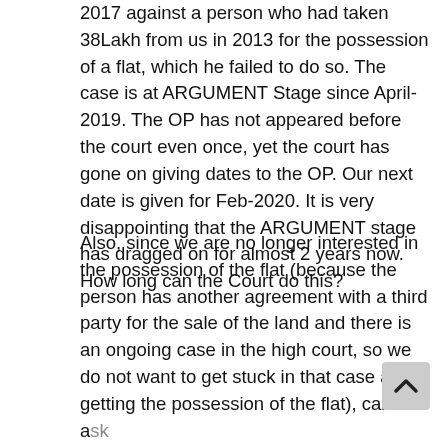2017 against a person who had taken 38Lakh from us in 2013 for the possession of a flat, which he failed to do so. The case is at ARGUMENT Stage since April-2019. The OP has not appeared before the court even once, yet the court has gone on giving dates to the OP. Our next date is given for Feb-2020. It is very disappointing that the ARGUMENT stage has dragged on for almost 2 years now. How long can the Court do this?
Also, since we are no longer interested in the possession of the flat (because the person has another agreement with a third party for the sale of the land and there is an ongoing case in the high court, so we do not want to get stuck in that case after getting the possession of the flat), can we ask for ONLY refund of the amount? Reason I am asking this is because our lawyer has stated POSSESSION